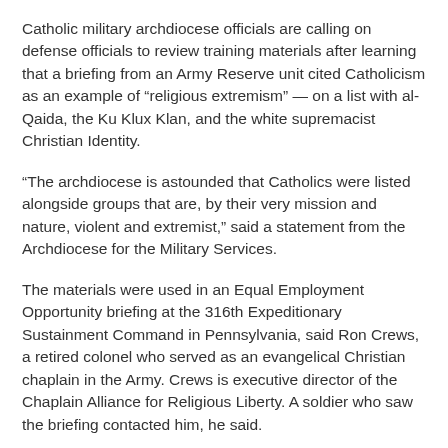Catholic military archdiocese officials are calling on defense officials to review training materials after learning that a briefing from an Army Reserve unit cited Catholicism as an example of “religious extremism” — on a list with al-Qaida, the Ku Klux Klan, and the white supremacist Christian Identity.
“The archdiocese is astounded that Catholics were listed alongside groups that are, by their very mission and nature, violent and extremist,” said a statement from the Archdiocese for the Military Services.
The materials were used in an Equal Employment Opportunity briefing at the 316th Expeditionary Sustainment Command in Pennsylvania, said Ron Crews, a retired colonel who served as an evangelical Christian chaplain in the Army. Crews is executive director of the Chaplain Alliance for Religious Liberty. A soldier who saw the briefing contacted him, he said.
The problem could be more widespread, Crews said, because his organization has received information about